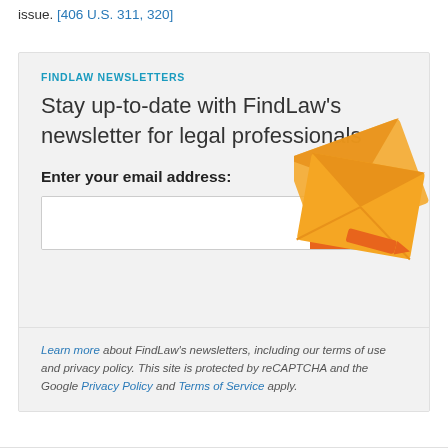issue. [406 U.S. 311, 320]
FINDLAW NEWSLETTERS
Stay up-to-date with FindLaw’s newsletter for legal professionals
Enter your email address:
[Figure (illustration): Orange decorative graphic with envelope/arrow shapes]
Learn more about FindLaw’s newsletters, including our terms of use and privacy policy. This site is protected by reCAPTCHA and the Google Privacy Policy and Terms of Service apply.